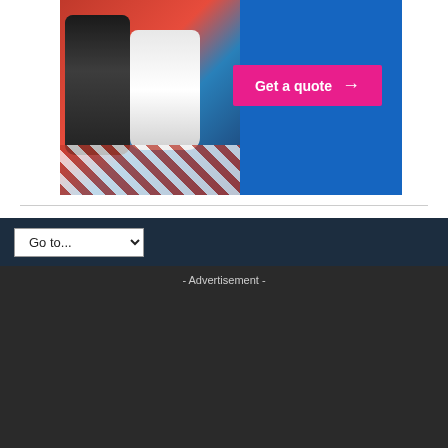[Figure (photo): An advertisement banner showing salt and pepper shakers on a red checkered tablecloth against a dark blue background, with a pink 'Get a quote' button with arrow.]
Go to...
- Advertisement -
[Figure (advertisement): LandlordZone banner ad: 'Looking to grow your business? Get your business in front of over 500,000 monthly readers. Advertise here']